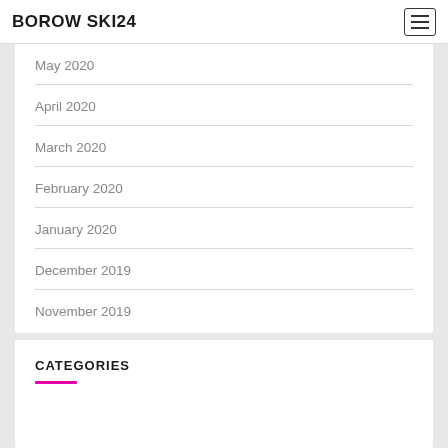BOROW SKI24
May 2020
April 2020
March 2020
February 2020
January 2020
December 2019
November 2019
CATEGORIES